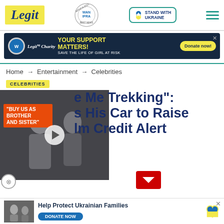Legit — WAN IFRA 2021 Best News Website in Africa — STAND WITH UKRAINE
[Figure (screenshot): Legit.ng charity ad banner: YOUR SUPPORT MATTERS! SAVE THE LIFE OF GIRL AT RISK. Donate now!]
Home → Entertainment → Celebrities
CELEBRITIES
"...e Me Trekking": ...s His Car to Raise ...lm Credit Alert
[Figure (photo): Video thumbnail showing a woman and man at a public event, with overlay text 'BUY US AS BROTHER AND SISTER']
[Figure (screenshot): Bottom ad: Help Protect Ukrainian Families — DONATE NOW with heart icon]